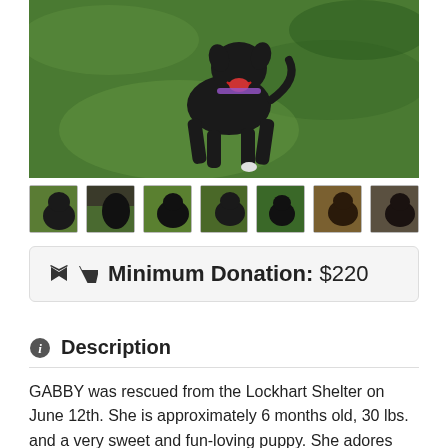[Figure (photo): A black dog standing on green grass, mouth open and appearing to smile, wearing a collar]
[Figure (photo): Row of 7 thumbnail photos of the same black dog in various poses on grass]
Minimum Donation: $220
Description
GABBY was rescued from the Lockhart Shelter on June 12th. She is approximately 6 months old, 30 lbs. and a very sweet and fun-loving puppy. She adores affection considering she was a stray that probably lived most of her life outdoors. She is